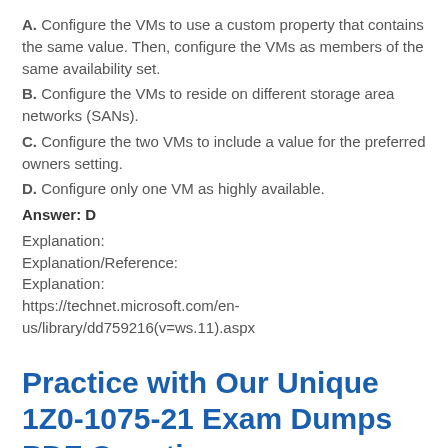A. Configure the VMs to use a custom property that contains the same value. Then, configure the VMs as members of the same availability set.
B. Configure the VMs to reside on different storage area networks (SANs).
C. Configure the two VMs to include a value for the preferred owners setting.
D. Configure only one VM as highly available.
Answer: D
Explanation:
Explanation/Reference:
Explanation:
https://technet.microsoft.com/en-us/library/dd759216(v=ws.11).aspx
Practice with Our Unique 1Z0-1075-21 Exam Dumps PDF Questions: